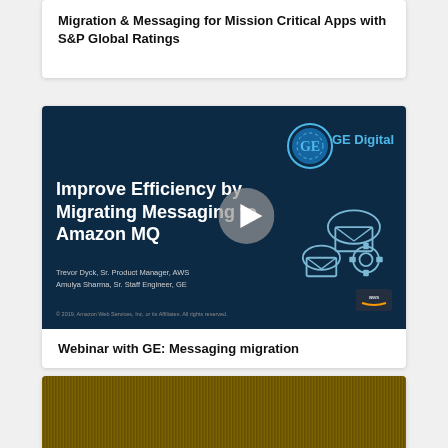Migration & Messaging for Mission Critical Apps with S&P Global Ratings
[Figure (screenshot): Webinar slide screenshot with dark navy background. Title reads 'Improve Efficiency by Migrating Messaging to Amazon MQ'. Presenters: Trevor Dyck, Sr. Product Manager, AWS and Amulya Sharma, Sr. Staff Engineer, GE. GE Digital logo top right, AWS logo bottom right. Play button overlay in center. Envelope and gear cloud icons on right side.]
Webinar with GE: Messaging migration
[Figure (photo): Partial image at bottom of page showing golden/yellow streaked background, appears to be a data or tech themed banner image.]